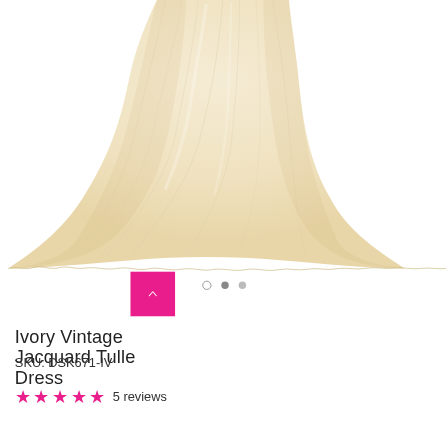[Figure (photo): Product photo of an ivory vintage jacquard tulle dress, showing the skirt portion with layered ivory/cream tulle fabric flaring out, on a white background]
Ivory Vintage Jacquard Tulle Dress
SKU: DSK671-IV
5 reviews